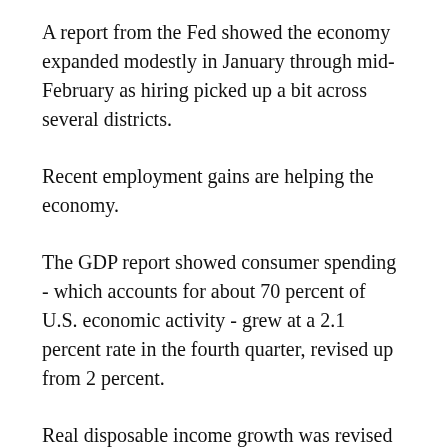A report from the Fed showed the economy expanded modestly in January through mid-February as hiring picked up a bit across several districts.
Recent employment gains are helping the economy.
The GDP report showed consumer spending - which accounts for about 70 percent of U.S. economic activity - grew at a 2.1 percent rate in the fourth quarter, revised up from 2 percent.
Real disposable income growth was revised up to a 1.4 percent rate from 0.8 percent. The saving rate was raised to a much stronger 4.5 percent rate from 3.7 percent.